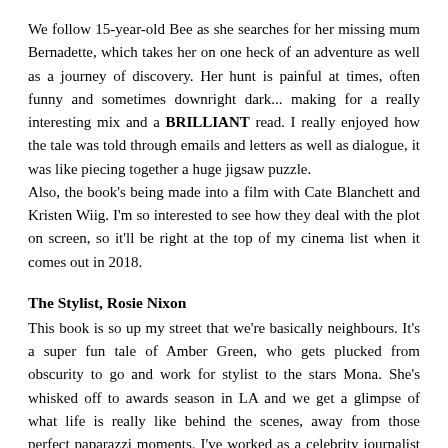We follow 15-year-old Bee as she searches for her missing mum Bernadette, which takes her on one heck of an adventure as well as a journey of discovery. Her hunt is painful at times, often funny and sometimes downright dark... making for a really interesting mix and a BRILLIANT read. I really enjoyed how the tale was told through emails and letters as well as dialogue, it was like piecing together a huge jigsaw puzzle.
Also, the book's being made into a film with Cate Blanchett and Kristen Wiig. I'm so interested to see how they deal with the plot on screen, so it'll be right at the top of my cinema list when it comes out in 2018.
The Stylist, Rosie Nixon
This book is so up my street that we're basically neighbours. It's a super fun tale of Amber Green, who gets plucked from obscurity to go and work for stylist to the stars Mona. She's whisked off to awards season in LA and we get a glimpse of what life is really like behind the scenes, away from those perfect paparazzi moments. I've worked as a celebrity journalist and was laughing along at some of the scenes which reminded me so much of my time walking that red carpet. A modern, stylish read...